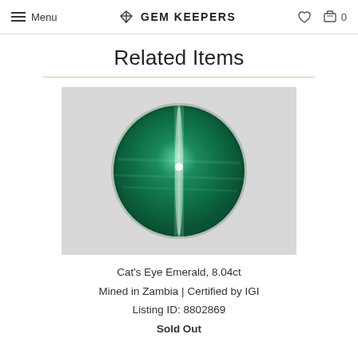Menu | GEM KEEPERS | ♡ 🛒 0
Related Items
[Figure (photo): A round cat's eye emerald gemstone with chatoyancy effect showing a bright line across the center, deep green color, on a light gray background.]
Cat's Eye Emerald, 8.04ct
Mined in Zambia | Certified by IGI
Listing ID: 8802869
Sold Out